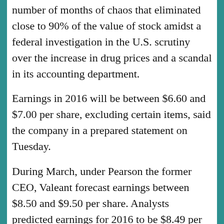number of months of chaos that eliminated close to 90% of the value of stock amidst a federal investigation in the U.S. scrutiny over the increase in drug prices and a scandal in its accounting department.
Earnings in 2016 will be between $6.60 and $7.00 per share, excluding certain items, said the company in a prepared statement on Tuesday.
During March, under Pearson the former CEO, Valeant forecast earnings between $8.50 and $9.50 per share. Analysts predicted earnings for 2016 to be $8.49 per share.
During the first quarter, Valeant's $1.27 per share earnings fell short of analyst predictions of $1.37.